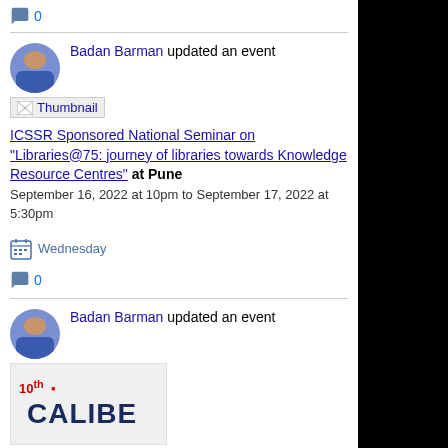0
Badan Barman updated an event
[Figure (screenshot): Thumbnail image placeholder with broken image icon]
ICSSR Sponsored National Seminar on "Libraries@75: journey of libraries towards Knowledge Resource Centres" at Pune
September 16, 2022 at 10pm to September 17, 2022 at 5:30pm
Wednesday
0
Badan Barman updated an event
[Figure (screenshot): CALIBER 2022 conference thumbnail with blurred logo showing CALIBER text]
CALIBER 2022 on "Envisioning Digital Transformation in Libraries for NextGen Academic Landscape" at BHU, Varanasi, UP, INDIA.
November 17, 2022 at 6pm to November 19, 2022 at 7pm